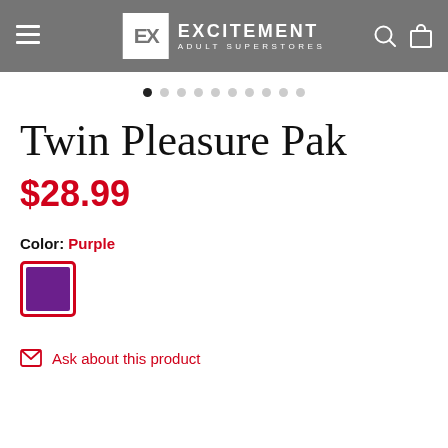Excitement Adult Superstores
[Figure (other): Carousel pagination dots, 10 dots total, first dot active/filled]
Twin Pleasure Pak
$28.99
Color: Purple
[Figure (other): Purple color swatch with red border indicating selected color]
Ask about this product